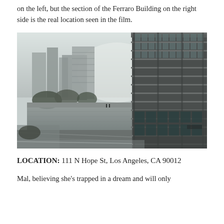on the left, but the section of the Ferraro Building on the right side is the real location seen in the film.
[Figure (photo): Exterior photograph showing a modern multi-story building with horizontal concrete balconies on the right side, a reflective pool or water feature in the middle ground, and several tall office buildings visible in the hazy background on the left. Trees and pathways are visible along the water's edge.]
LOCATION: 111 N Hope St, Los Angeles, CA 90012
Mal, believing she's trapped in a dream and will only